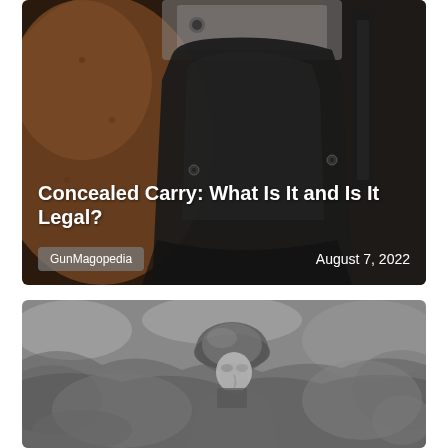[Figure (photo): Close-up photo of a black Kydex gun holster with a revolver partially visible, brown leather background, dark tones]
Concealed Carry: What Is It and Is It Legal?
GunMagopedia
August 7, 2022
[Figure (photo): Black and white photograph of a soldier in helmet and military gear, looking upward, in wooded or rocky terrain]